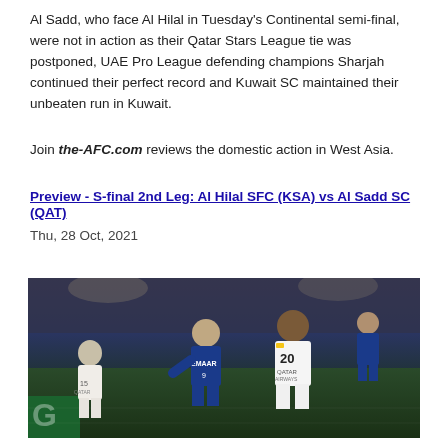Al Sadd, who face Al Hilal in Tuesday's Continental semi-final, were not in action as their Qatar Stars League tie was postponed, UAE Pro League defending champions Sharjah continued their perfect record and Kuwait SC maintained their unbeaten run in Kuwait.
Join the-AFC.com reviews the domestic action in West Asia.
Preview - S-final 2nd Leg: Al Hilal SFC (KSA) vs Al Sadd SC (QAT)
Thu, 28 Oct, 2021
[Figure (photo): Football match photo showing players from Al Hilal (blue kit) and Al Sadd (white kit with QATAR AIRWAYS and number 20) competing on the field at night under stadium lights. Player in white has PUMA brand jersey.]